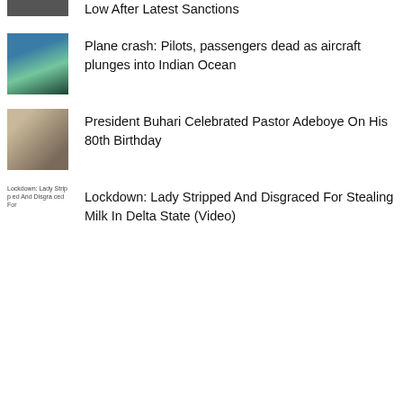Low After Latest Sanctions
Plane crash: Pilots, passengers dead as aircraft plunges into Indian Ocean
President Buhari Celebrated Pastor Adeboye On His 80th Birthday
Lockdown: Lady Stripped And Disgraced For Stealing Milk In Delta State (Video)